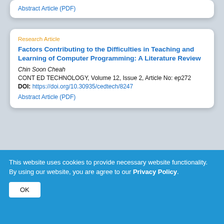Abstract Article (PDF)
Research Article
Factors Contributing to the Difficulties in Teaching and Learning of Computer Programming: A Literature Review
Chin Soon Cheah
CONT ED TECHNOLOGY, Volume 12, Issue 2, Article No: ep272
DOI: https://doi.org/10.30935/cedtech/8247
Abstract Article (PDF)
Research Article
LMS-Enabled Blended Learning Use Intentions among Distance Education Tutors: Examining the Mediation
This website uses cookies to provide necessary website functionality. By using our website, you are agree to our Privacy Policy.
OK